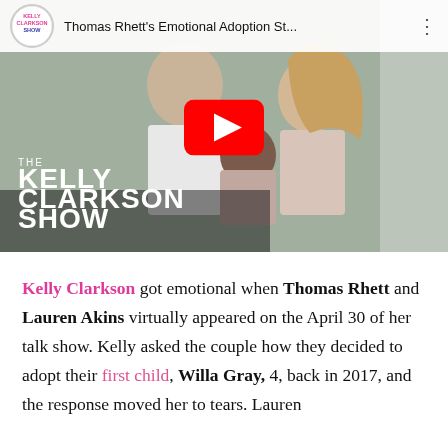[Figure (screenshot): YouTube video thumbnail showing Thomas Rhett and Lauren Akins holding a baby, with The Kelly Clarkson Show branding. Video title reads 'Thomas Rhett's Emotional Adoption St...' with a red YouTube play button overlay.]
Kelly Clarkson got emotional when Thomas Rhett and Lauren Akins virtually appeared on the April 30 of her talk show. Kelly asked the couple how they decided to adopt their first child, Willa Gray, 4, back in 2017, and the response moved her to tears. Lauren